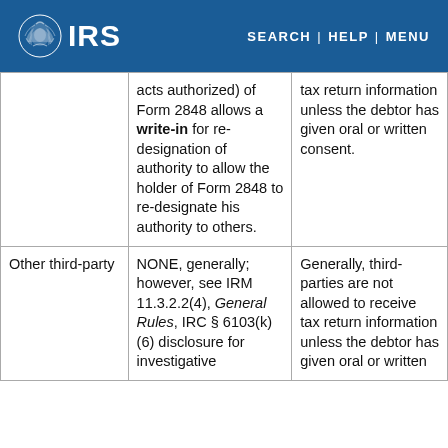IRS | SEARCH | HELP | MENU
|  | Authority | Disclosure |
| --- | --- | --- |
|  | acts authorized) of Form 2848 allows a write-in for re-designation of authority to allow the holder of Form 2848 to re-designate his authority to others. | tax return information unless the debtor has given oral or written consent. |
| Other third-party | NONE, generally; however, see IRM 11.3.2.2(4), General Rules, IRC § 6103(k)(6) disclosure for investigative | Generally, third-parties are not allowed to receive tax return information unless the debtor has given oral or written |